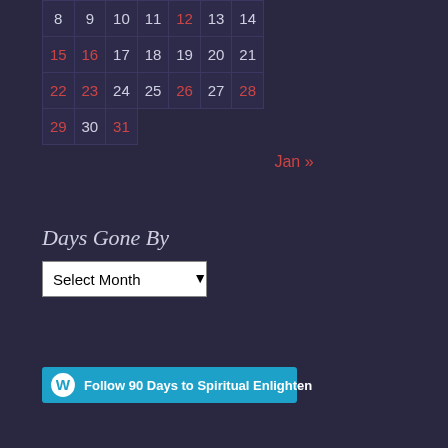| 8 | 9 | 10 | 11 | 12 | 13 | 14 |
| 15 | 16 | 17 | 18 | 19 | 20 | 21 |
| 22 | 23 | 24 | 25 | 26 | 27 | 28 |
| 29 | 30 | 31 |  |  |  |  |
Jan »
Days Gone By
Select Month
Follow 90 Days to Spiritual Enlightenment